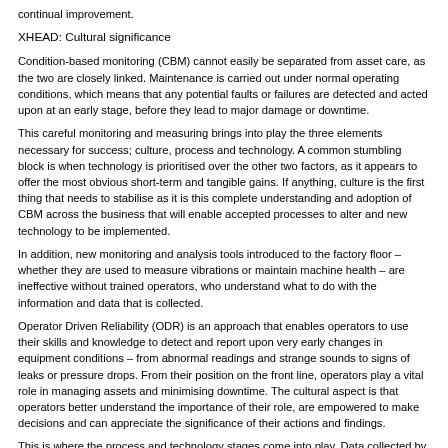continual improvement.
XHEAD: Cultural significance
Condition-based monitoring (CBM) cannot easily be separated from asset care, as the two are closely linked. Maintenance is carried out under normal operating conditions, which means that any potential faults or failures are detected and acted upon at an early stage, before they lead to major damage or downtime.
This careful monitoring and measuring brings into play the three elements necessary for success; culture, process and technology. A common stumbling block is when technology is prioritised over the other two factors, as it appears to offer the most obvious short-term and tangible gains. If anything, culture is the first thing that needs to stabilise as it is this complete understanding and adoption of CBM across the business that will enable accepted processes to alter and new technology to be implemented.
In addition, new monitoring and analysis tools introduced to the factory floor – whether they are used to measure vibrations or maintain machine health – are ineffective without trained operators, who understand what to do with the information and data that is collected.
Operator Driven Reliability (ODR) is an approach that enables operators to use their skills and knowledge to detect and report upon very early changes in equipment conditions – from abnormal readings and strange sounds to signs of leaks or pressure drops. From their position on the front line, operators play a vital role in managing assets and minimising downtime. The cultural aspect is that operators better understand the importance of their role, are empowered to make decisions and can appreciate the significance of their actions and findings.
This is where the process and technology stages come into play. Data collected by operators is uploaded onto shared software for analysis and to develop improvements. This mining of information is achieved using a raft of CBM tools